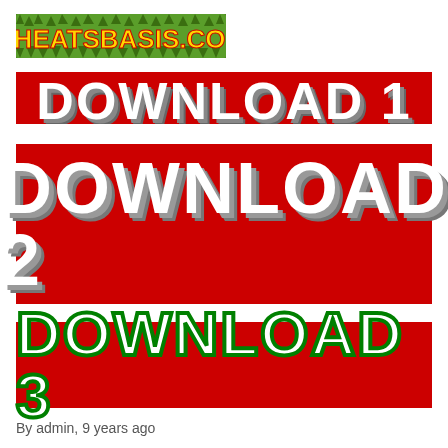[Figure (logo): CHEATSBASIS.COM logo with grass texture background, red and yellow text]
[Figure (other): DOWNLOAD 1 button - red background with large white text and gray shadow, partially cropped at top]
[Figure (other): DOWNLOAD 2 button - red background with large white text and gray shadow]
[Figure (other): DOWNLOAD 3 button - red background with large white text outlined in green]
By admin, 9 years ago